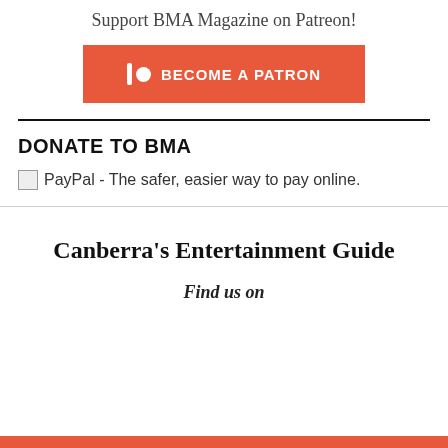Support BMA Magazine on Patreon!
[Figure (other): Patreon 'Become a Patron' button — orange rectangle with bar and circle icon and bold uppercase text 'BECOME A PATRON']
DONATE TO BMA
[Figure (other): Broken image placeholder for PayPal button with alt text 'PayPal - The safer, easier way to pay online.']
Canberra's Entertainment Guide
Find us on